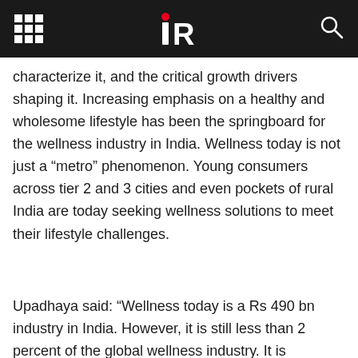IR
characterize it, and the critical growth drivers shaping it. Increasing emphasis on a healthy and wholesome lifestyle has been the springboard for the wellness industry in India. Wellness today is not just a “metro” phenomenon. Young consumers across tier 2 and 3 cities and even pockets of rural India are today seeking wellness solutions to meet their lifestyle challenges.
Upadhaya said: “Wellness today is a Rs 490 bn industry in India. However, it is still less than 2 percent of the global wellness industry. It is interesting to note how this industry has used business potential of traditional Indian practices and home remedies. Adjacent industries such as retail, healthcare, and hospitality among others are assimilating wellness as